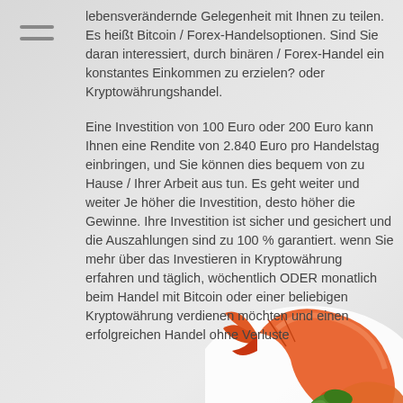lebensverändernde Gelegenheit mit Ihnen zu teilen. Es heißt Bitcoin / Forex-Handelsoptionen. Sind Sie daran interessiert, durch binären / Forex-Handel ein konstantes Einkommen zu erzielen? oder Kryptowährungshandel.
Eine Investition von 100 Euro oder 200 Euro kann Ihnen eine Rendite von 2.840 Euro pro Handelstag einbringen, und Sie können dies bequem von zu Hause / Ihrer Arbeit aus tun. Es geht weiter und weiter Je höher die Investition, desto höher die Gewinne. Ihre Investition ist sicher und gesichert und die Auszahlungen sind zu 100 % garantiert. wenn Sie mehr über das Investieren in Kryptowährung erfahren und täglich, wöchentlich ODER monatlich beim Handel mit Bitcoin oder einer beliebigen Kryptowährung verdienen möchten und einen erfolgreichen Handel ohne Verluste
[Figure (photo): Photo of cooked shrimp/prawns with herbs (basil, parsley) on a white plate, visible at bottom-right of the page]